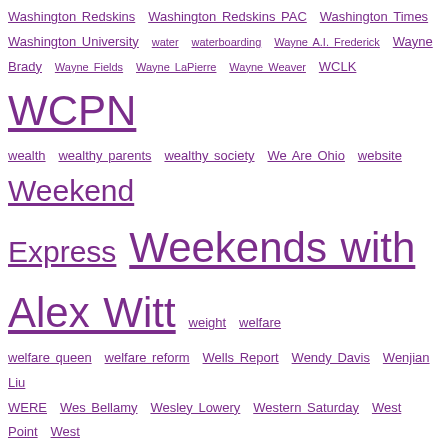Washington Redskins Washington Redskins PAC Washington Times Washington University water waterboarding Wayne A.I. Frederick Wayne Brady Wayne Fields Wayne LaPierre Wayne Weaver WCLK WCPN wealth wealthy parents wealthy society We Are Ohio website Weekend Express Weekends with Alex Witt weight welfare welfare queen welfare reform Wells Report Wendy Davis Wenjian Liu WERE Wes Bellamy Wesley Lowery Western Saturday West Point West Virginia wetback what to tell your children Where's Your Green Card whistleblower whiteface white house White House Correspondents Dinner White House Down White House Intern white nationalism white nationalist white nationalists white Obama white privilege White Savior white supremacist white supremacy Whitney Houston Who is Trevor Noah Whoopi Goldberg who will win the Super Bowl whupping WHYY widow Wifi Wikileaks Will Cain william barr William Bynum William C. Rhoden William Melendez William Patterson University William Wingate Wilmer Leon winning streak Winning the Future Wireless Internet wiretapping Wisconsin Wisconsin primary WKBN WKSU WKYC WNBA WNYC WOIO Women's March on Washington